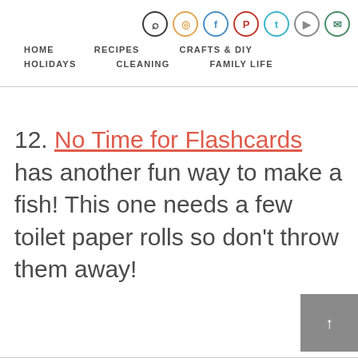HOME | RECIPES | CRAFTS & DIY | HOLIDAYS | CLEANING | FAMILY LIFE
12. No Time for Flashcards has another fun way to make a fish! This one needs a few toilet paper rolls so don't throw them away!